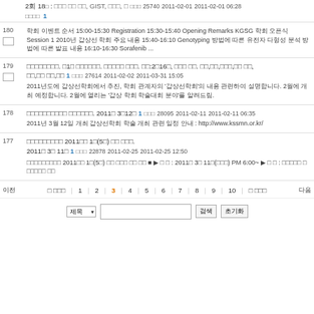2회 180 : 갑상선 학회 발표, GIST, 자료, 외   조회수 25740   2011-02-01   2011-02-01 06:28   공지사항 1
학회 이벤트 순서 15:00-15:30 Registration 15:30-15:40 Opening Remarks KGSG 학회 오픈식 Session 1 2010년 갑상선 학회 주요 내용 15:40-16:10 Genotyping 방법에 따른 유전자 다형성 분석 방법에 따른 발표 내용 16:10-16:30 Sorafenib ...
스팸게시물입니다. 이10 스팸게시물입니다. 스팸게시물. 공 의:2016년, 게시판 관리. 등록,심사,공지,모바일 관리, 투표,소셜 미디어,기타   조회수 27614   2011-02-02   2011-03-31 15:05   1
2011년도에 갑상선학회에서 추진, 학회 관계자의 '갑상선학회'의 내용 관련하여 설명합니다. 2월에 개최 예정합니다. 2월에 열리는 '갑상 학회 학술대회 분야'를 알려드림.
갑상선학회갑상선학회 학술대회입니다. 2011년 3월12일   1   조회수 28095   2011-02-11   2011-02-11 06:35
2011년 3월 12일 개최 갑상선학회 학술 개최 관련 일정 안내 : http://www.kssmn.or.kr/
갑상선학회학술 2011년도 1월(5일) 행사 안내. 2011년 3월 11일   1   조회수 22878   2011-02-25   2011-02-25 12:50
갑상선학회학술 2011년도 1월(5일) 행사 관련 행사에 대해 ■ ▶ 자 소 : 2011년 3월 11일(금요일) PM 6:00~ ▶ 주 관 : 갑상선학회 및 학술대회 운영
이전   이 페이지   1   2   3   4   5   6   7   8   9   10   다 페이지   다음
제목 ▾   검색   초기화